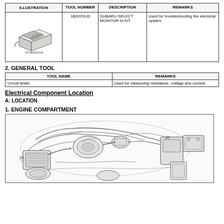| ILLUSTRATION | TOOL NUMBER | DESCRIPTION | REMARKS |
| --- | --- | --- | --- |
| [image: ST18022XU0] | 1B022XU0 | SUBARU SELECT MONITOR III KIT | Used for troubleshooting the electrical system. |
2. GENERAL TOOL
| TOOL NAME | REMARKS |
| --- | --- |
| Circuit tester | Used for measuring resistance, voltage and current. |
Electrical Component Location
A: LOCATION
1. ENGINE COMPARTMENT
[Figure (engineering-diagram): Engine compartment diagram showing various components labeled with numbers (1) and (2), illustrating the layout of electrical components in the engine bay of a Subaru vehicle.]